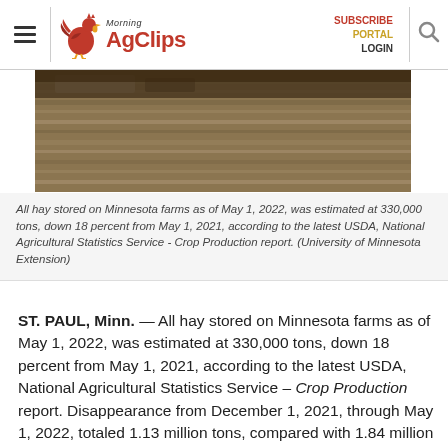Morning AgClips — SUBSCRIBE PORTAL LOGIN
[Figure (photo): Photo of hay stored on a farm, showing dried straw on flat ground with farm equipment visible at top.]
All hay stored on Minnesota farms as of May 1, 2022, was estimated at 330,000 tons, down 18 percent from May 1, 2021, according to the latest USDA, National Agricultural Statistics Service - Crop Production report. (University of Minnesota Extension)
ST. PAUL, Minn. — All hay stored on Minnesota farms as of May 1, 2022, was estimated at 330,000 tons, down 18 percent from May 1, 2021, according to the latest USDA, National Agricultural Statistics Service – Crop Production report. Disappearance from December 1, 2021, through May 1, 2022, totaled 1.13 million tons, compared with 1.84 million tons for the same period in 2021. This is the second lowest May hay stocks recorded for Minnesota,